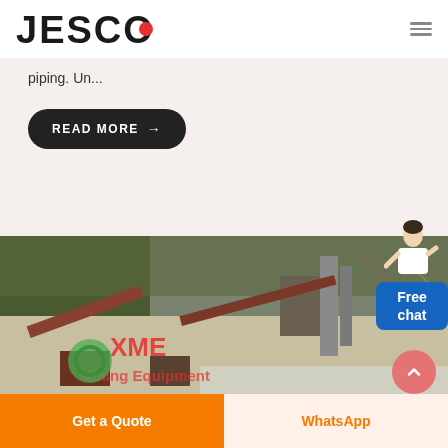[Figure (logo): JESCO logo with red dot inside the O, black bold text, and hamburger menu icon on the right]
piping. Un...
READ MORE →
[Figure (photo): Mining/quarry equipment site with conveyors, crushers, rocky terrain and vegetation in background. XME Mining Equipment watermark visible in green/red.]
Free
chat
Get a Quote
WhatsApp